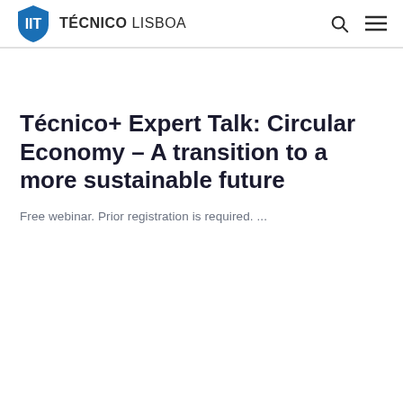TÉCNICO LISBOA
Técnico+ Expert Talk: Circular Economy – A transition to a more sustainable future
Free webinar. Prior registration is required. ...